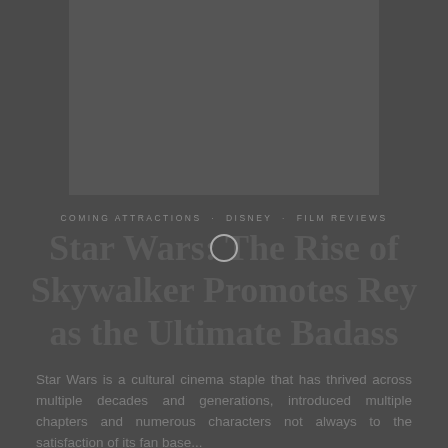[Figure (photo): Dark movie still image, appears to show a Star Wars character in dark costume/armor]
COMING ATTRACTIONS · DISNEY · FILM REVIEWS
Star Wars: The Rise of Skywalker Promotes Rey as the Ultimate Badass
Star Wars is a cultural cinema staple that has thrived across multiple decades and generations, introduced multiple chapters and numerous characters not always to the satisfaction of its fan base...